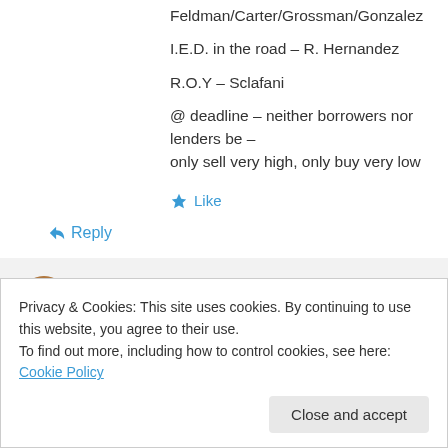Feldman/Carter/Grossman/Gonzalez
I.E.D. in the road – R. Hernandez
R.O.Y – Sclafani
@ deadline – neither borrowers nor lenders be – only sell very high, only buy very low
Like
Reply
Dan P on April 7, 2015 at 10:39 am
Privacy & Cookies: This site uses cookies. By continuing to use this website, you agree to their use.
To find out more, including how to control cookies, see here: Cookie Policy
Close and accept